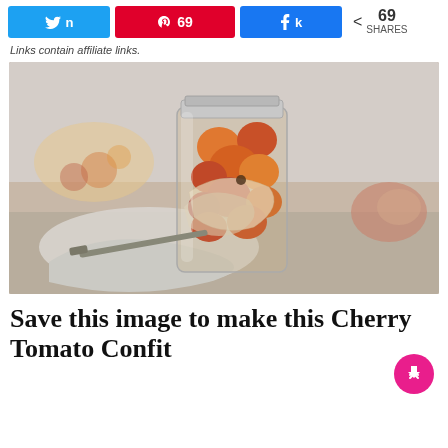[Figure (infographic): Social share bar with Twitter, Pinterest (69), and Facebook buttons, plus share count showing 69 SHARES]
Links contain affiliate links.
[Figure (photo): A mason jar filled with pickled cherry tomatoes, onions, and spices on a textured cloth with an onion in the background]
Save this image to make this Cherry Tomato Confit recipe later!